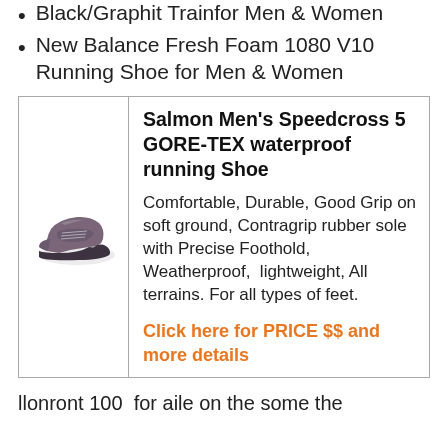Black/Graphit Trainfor Men & Women
New Balance Fresh Foam 1080 V10 Running Shoe for Men & Women
| [shoe image] | Salmon Men's Speedcross 5 GORE-TEX waterproof running Shoe

Comfortable, Durable, Good Grip on soft ground, Contragrip rubber sole with Precise Foothold, Weatherproof, lightweight, All terrains. For all types of feet.

Click here for PRICE $$ and more details |
llonront 100 for aile on the some the